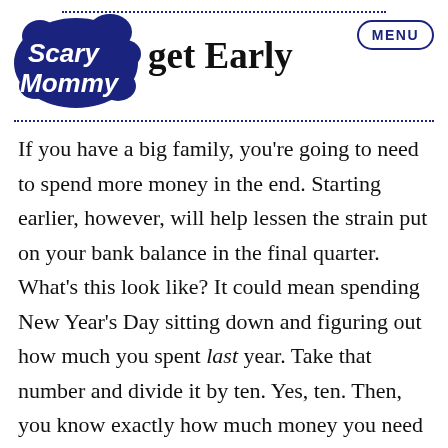Scary Mommy — get Early — MENU
If you have a big family, you're going to need to spend more money in the end. Starting earlier, however, will help lessen the strain put on your bank balance in the final quarter. What's this look like? It could mean spending New Year's Day sitting down and figuring out how much you spent last year. Take that number and divide it by ten. Yes, ten. Then, you know exactly how much money you need to save between January and October in order to have a reasonable budget for shopping in November